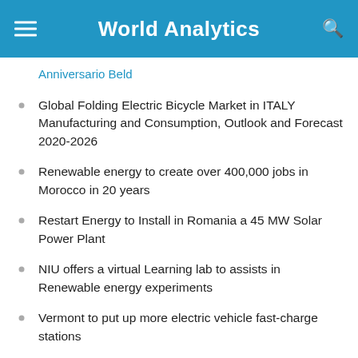World Analytics
Anniversario Beld
Global Folding Electric Bicycle Market in ITALY Manufacturing and Consumption, Outlook and Forecast 2020-2026
Renewable energy to create over 400,000 jobs in Morocco in 20 years
Restart Energy to Install in Romania a 45 MW Solar Power Plant
NIU offers a virtual Learning lab to assists in Renewable energy experiments
Vermont to put up more electric vehicle fast-charge stations
Geothermal Experts explore the future of the industry
Clean Machines: The best 12 “Greenest” vehicles in 2021